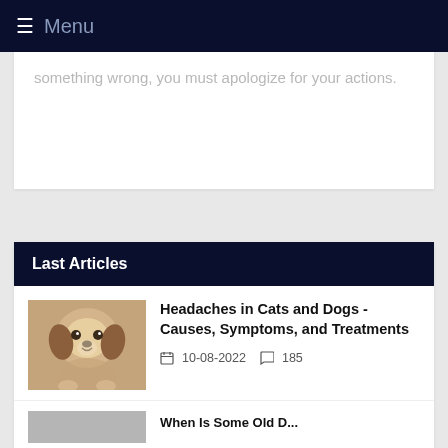≡ Menu
something wrong, you must apologize for your actions.
Last Articles
[Figure (photo): Photo of a beagle puppy lying down, looking at camera]
Headaches in Cats and Dogs - Causes, Symptoms, and Treatments
10-08-2022   185